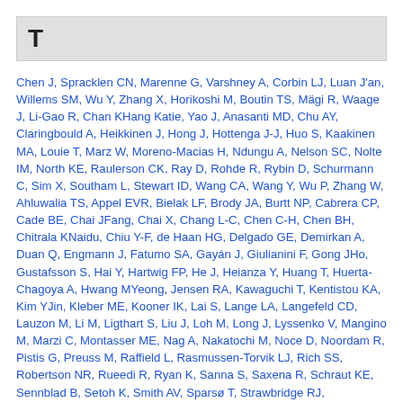T
Chen J, Spracklen CN, Marenne G, Varshney A, Corbin LJ, Luan J'an, Willems SM, Wu Y, Zhang X, Horikoshi M, Boutin TS, Mägi R, Waage J, Li-Gao R, Chan KHang Katie, Yao J, Anasanti MD, Chu AY, Claringbould A, Heikkinen J, Hong J, Hottenga J-J, Huo S, Kaakinen MA, Louie T, Marz W, Moreno-Macias H, Ndungu A, Nelson SC, Nolte IM, North KE, Raulerson CK, Ray D, Rohde R, Rybin D, Schurmann C, Sim X, Southam L, Stewart ID, Wang CA, Wang Y, Wu P, Zhang W, Ahluwalia TS, Appel EVR, Bielak LF, Brody JA, Burtt NP, Cabrera CP, Cade BE, Chai JFang, Chai X, Chang L-C, Chen C-H, Chen BH, Chitrala KNaidu, Chiu Y-F, de Haan HG, Delgado GE, Demirkan A, Duan Q, Engmann J, Fatumo SA, Gayán J, Giulianini F, Gong JHo, Gustafsson S, Hai Y, Hartwig FP, He J, Heianza Y, Huang T, Huerta-Chagoya A, Hwang MYeong, Jensen RA, Kawaguchi T, Kentistou KA, Kim YJin, Kleber ME, Kooner IK, Lai S, Lange LA, Langefeld CD, Lauzon M, Li M, Ligthart S, Liu J, Loh M, Long J, Lyssenko V, Mangino M, Marzi C, Montasser ME, Nag A, Nakatochi M, Noce D, Noordam R, Pistis G, Preuss M, Raffield L, Rasmussen-Torvik LJ, Rich SS, Robertson NR, Rueedi R, Ryan K, Sanna S, Saxena R, Schraut KE, Sennblad B, Setoh K, Smith AV, Sparsø T, Strawbridge RJ,